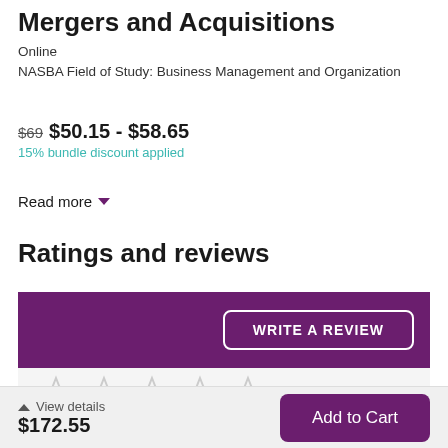Mergers and Acquisitions
Online
NASBA Field of Study: Business Management and Organization
$69  $50.15 - $58.65
15% bundle discount applied
Read more
Ratings and reviews
WRITE A REVIEW
[Figure (other): Five empty star rating icons in light gray]
View details $172.55   Add to Cart